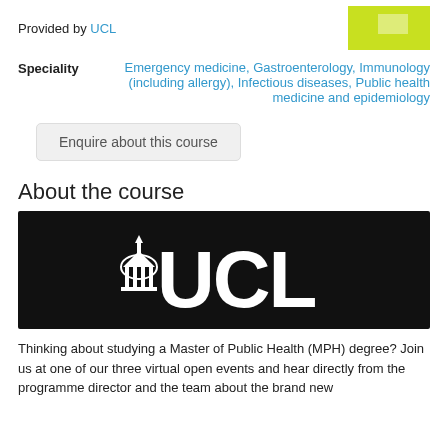Provided by UCL
Speciality   Emergency medicine, Gastroenterology, Immunology (including allergy), Infectious diseases, Public health medicine and epidemiology
Enquire about this course
About the course
[Figure (logo): UCL logo in white on black background]
Thinking about studying a Master of Public Health (MPH) degree? Join us at one of our three virtual open events and hear directly from the programme director and the team about the brand new